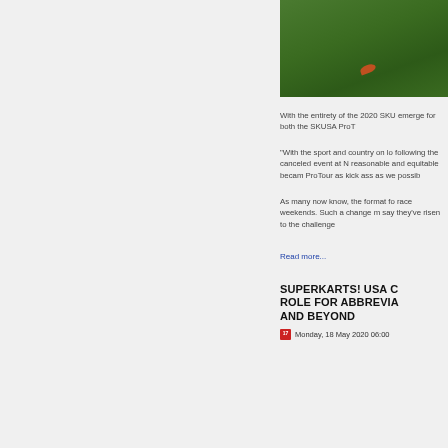[Figure (photo): Close-up of green grass with an orange leaf, cropped in upper right area]
With the entirety of the 2020 SKU emerge for both the SKUSA ProT
“With the sport and country on lo following the canceled event at N reasonable and equitable becam ProTour as kick ass as we possib
As many now know, the format fo race weekends. Such a change m say they’ve risen to the challenge
Read more...
SUPERKARTS! USA C ROLE FOR ABBREVIA AND BEYOND
Monday, 18 May 2020 06:00